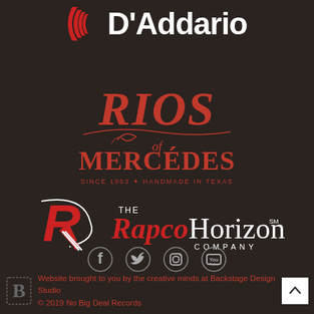[Figure (logo): D'Addario logo with red D icon and white text]
[Figure (logo): Rios of Mercedes logo in orange/red with text 'SINCE 1953 HANDMADE IN TEXAS']
[Figure (logo): The RapcoHorizon Company logo with red R icon and white/red text]
[Figure (illustration): Social media icons row: Facebook, Twitter, Instagram, YouTube]
Website brought to you by the creative minds at Backstage Design Studio © 2019 No Big Deal Records